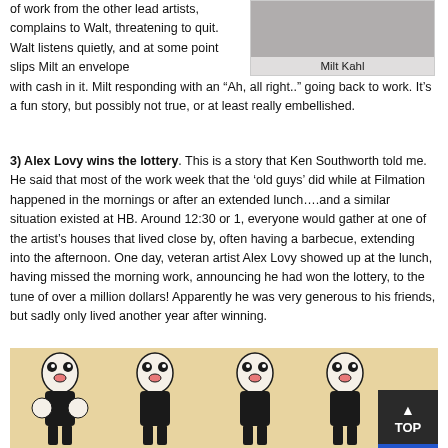of work from the other lead artists, complains to Walt, threatening to quit. Walt listens quietly, and at some point slips Milt an envelope with cash in it. Milt responding with an “Ah, all right..” going back to work. It’s a fun story, but possibly not true, or at least really embellished.
[Figure (photo): Black and white portrait photo of Milt Kahl with caption 'Milt Kahl' below]
3) Alex Lovy wins the lottery. This is a story that Ken Southworth told me. He said that most of the work week that the ‘old guys’ did while at Filmation happened in the mornings or after an extended lunch….and a similar situation existed at HB. Around 12:30 or 1, everyone would gather at one of the artist’s houses that lived close by, often having a barbecue, extending into the afternoon. One day, veteran artist Alex Lovy showed up at the lunch, having missed the morning work, announcing he had won the lottery, to the tune of over a million dollars! Apparently he was very generous to his friends, but sadly only lived another year after winning.
[Figure (illustration): Four Betty Boop cartoon character figures in various poses on a tan/orange background]